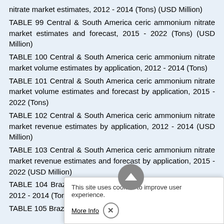nitrate market estimates, 2012 - 2014 (Tons) (USD Million)
TABLE 99 Central & South America ceric ammonium nitrate market estimates and forecast, 2015 - 2022 (Tons) (USD Million)
TABLE 100 Central & South America ceric ammonium nitrate market volume estimates by application, 2012 - 2014 (Tons)
TABLE 101 Central & South America ceric ammonium nitrate market volume estimates and forecast by application, 2015 - 2022 (Tons)
TABLE 102 Central & South America ceric ammonium nitrate market revenue estimates by application, 2012 - 2014 (USD Million)
TABLE 103 Central & South America ceric ammonium nitrate market revenue estimates and forecast by application, 2015 - 2022 (USD Million)
TABLE 104 Brazil ceric ammonium nitrate market estimates, 2012 - 2014 (Tons)
TABLE 105 Brazil ceric ammonium nitrate market